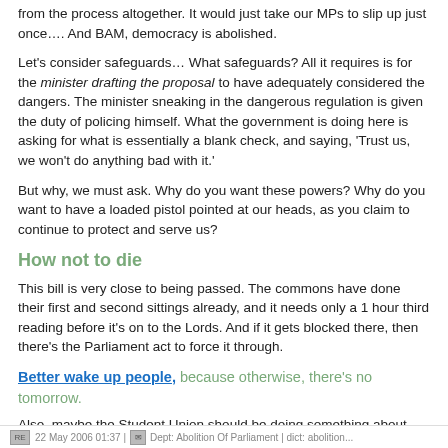from the process altogether. It would just take our MPs to slip up just once…. And BAM, democracy is abolished.
Let's consider safeguards… What safeguards? All it requires is for the minister drafting the proposal to have adequately considered the dangers. The minister sneaking in the dangerous regulation is given the duty of policing himself. What the government is doing here is asking for what is essentially a blank check, and saying, 'Trust us, we won't do anything bad with it.'
But why, we must ask. Why do you want these powers? Why do you want to have a loaded pistol pointed at our heads, as you claim to continue to protect and serve us?
How not to die
This bill is very close to being passed. The commons have done their first and second sittings already, and it needs only a 1 hour third reading before it's on to the Lords. And if it gets blocked there, then there's the Parliament act to force it through.
Better wake up people, because otherwise, there's no tomorrow.
Also, maybe the Student Union should be doing something about this. I know there's an anti-political mood in the air, but I do think we can have a broad and non-alienating consensus on this issue.
22 May 2006 01:37 | Dept: Abolition Of Parliament | dict: abolition...